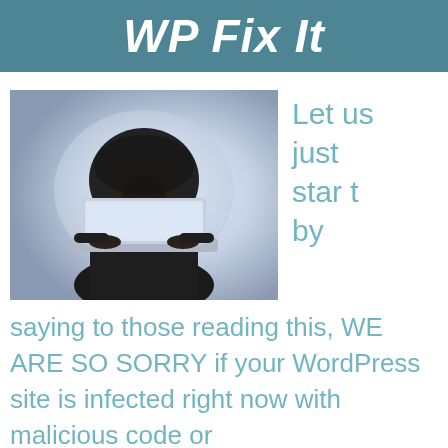WP Fix It
[Figure (photo): Person in black hoodie hunched over a laptop computer, hacker concept image with blue-grey background]
Let us just start by saying to those reading this, WE ARE SO SORRY if your WordPress site is infected right now with malicious code or